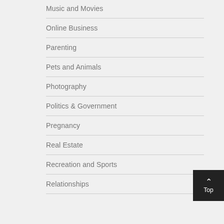Music and Movies
Online Business
Parenting
Pets and Animals
Photography
Politics & Government
Pregnancy
Real Estate
Recreation and Sports
Relationships